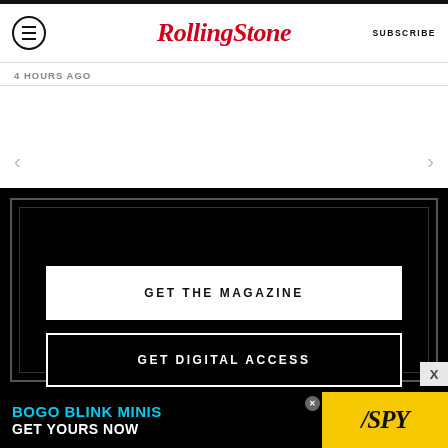Rolling Stone — SUBSCRIBE
4 HOURS AGO
[Figure (screenshot): Rolling Stone website subscription modal with three buttons: GET THE MAGAZINE, GET DIGITAL ACCESS, GIVE A GIFT, on black background]
[Figure (infographic): Advertisement banner: BOGO BLINK MINIS GET YOURS NOW with SPY logo on yellow background]